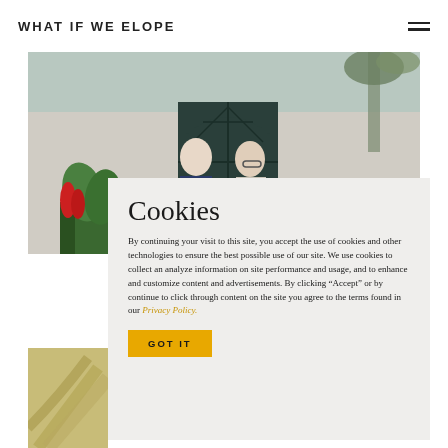WHAT IF WE ELOPE
[Figure (photo): Two men standing in front of a dark green arched window/door, with tropical plants in the foreground. One man wears a navy suit, the other a light suit with glasses.]
Cookies
By continuing your visit to this site, you accept the use of cookies and other technologies to ensure the best possible use of our site. We use cookies to collect an analyze information on site performance and usage, and to enhance and customize content and advertisements. By clicking “Accept” or by continue to click through content on the site you agree to the terms found in our Privacy Policy.
GOT IT